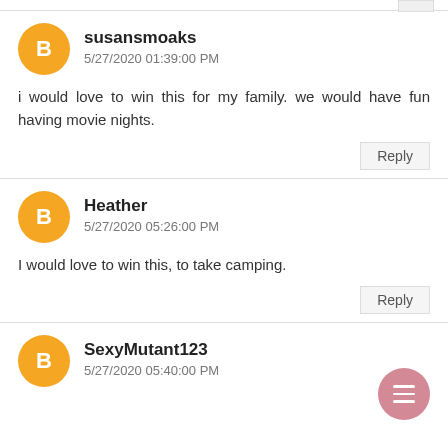susansmoaks
5/27/2020 01:39:00 PM
i would love to win this for my family. we would have fun having movie nights.
Reply
Heather
5/27/2020 05:26:00 PM
I would love to win this, to take camping.
Reply
SexyMutant123
5/27/2020 05:40:00 PM